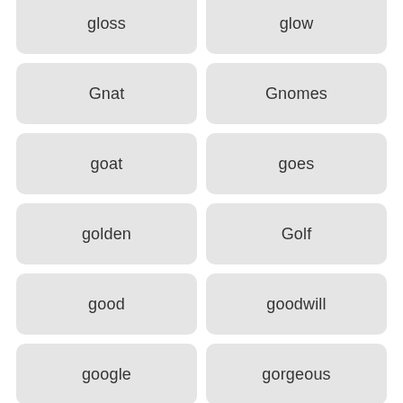gloss
glow
Gnat
Gnomes
goat
goes
golden
Golf
good
goodwill
google
gorgeous
gotta
Graduation
grage
Grandma
Grandparents
granet